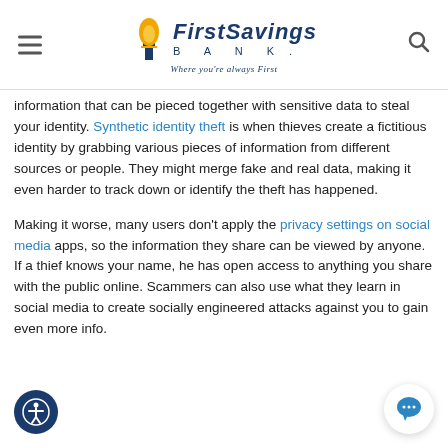First Savings Bank — Where you're always First
information that can be pieced together with sensitive data to steal your identity. Synthetic identity theft is when thieves create a fictitious identity by grabbing various pieces of information from different sources or people. They might merge fake and real data, making it even harder to track down or identify the theft has happened.
Making it worse, many users don't apply the privacy settings on social media apps, so the information they share can be viewed by anyone. If a thief knows your name, he has open access to anything you share with the public online. Scammers can also use what they learn in social media to create socially engineered attacks against you to gain even more info.